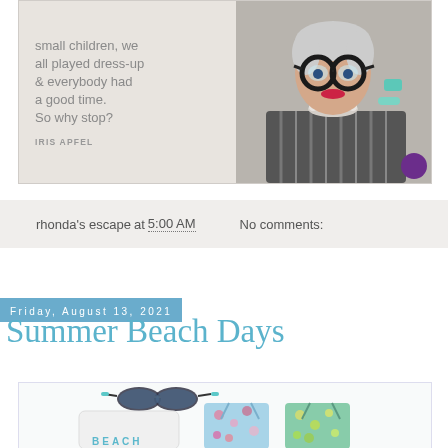[Figure (photo): Advertisement image with an elderly woman wearing large round glasses, bold jewelry and patterned coat, next to a quote: 'When we were small children, we all played dress-up & everybody had a good time. So why stop?' attributed to IRIS APFEL, with a purple brand badge in the corner.]
rhonda's escape at 5:00 AM   No comments:
Friday, August 13, 2021
Summer Beach Days
[Figure (photo): Product flat-lay image showing sunglasses, a white long-sleeve shirt with 'BEACH' text, and two floral swimsuits in blue/green patterns against a white background.]